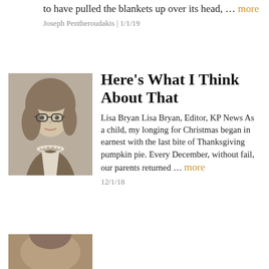to have pulled the blankets up over its head, ... more
Joseph Pentheroudakis | 1/1/19
[Figure (photo): Black and white portrait photo of a woman with glasses and shoulder-length hair wearing a pearl necklace]
Here's What I Think About That
Lisa Bryan Lisa Bryan, Editor, KP News As a child, my longing for Christmas began in earnest with the last bite of Thanksgiving pumpkin pie. Every December, without fail, our parents returned ... more
12/1/18
[Figure (photo): Partial black and white photo at bottom of page]